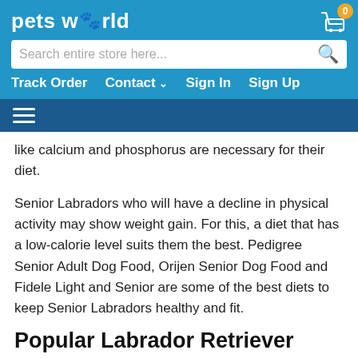petsworld
like calcium and phosphorus are necessary for their diet.
Senior Labradors who will have a decline in physical activity may show weight gain. For this, a diet that has a low-calorie level suits them the best. Pedigree Senior Adult Dog Food, Orijen Senior Dog Food and Fidele Light and Senior are some of the best diets to keep Senior Labradors healthy and fit.
Popular Labrador Retriever FAQ'S